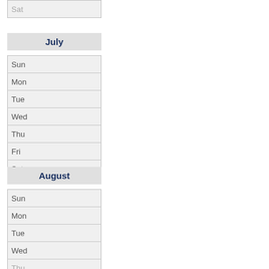| Sat |
July
| Sun |
| Mon |
| Tue |
| Wed |
| Thu |
| Fri |
| Sat |
August
| Sun |
| Mon |
| Tue |
| Wed |
| Thu |